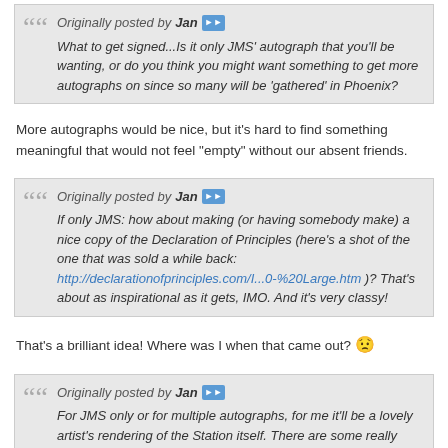Originally posted by Jan [arrow] What to get signed...Is it only JMS' autograph that you'll be wanting, or do you think you might want something to get more autographs on since so many will be 'gathered' in Phoenix?
More autographs would be nice, but it's hard to find something meaningful that would not feel "empty" without our absent friends.
Originally posted by Jan [arrow] If only JMS: how about making (or having somebody make) a nice copy of the Declaration of Principles (here's a shot of the one that was sold a while back: http://declarationofprinciples.com/I...0-%20Large.htm )? That's about as inspirational as it gets, IMO. And it's very classy!
That's a brilliant idea! Where was I when that came out? 😟
Originally posted by Jan [arrow] For JMS only or for multiple autographs, for me it'll be a lovely artist's rendering of the Station itself. There are some really nice ones available out there.
I'm hoping to find something like that too.